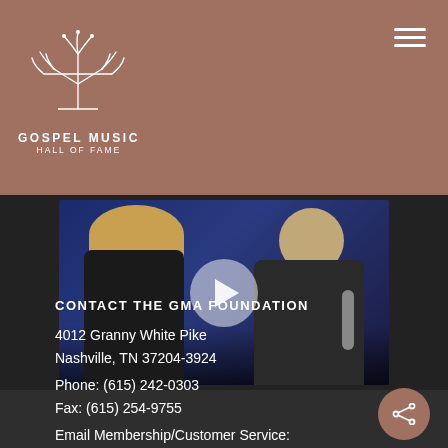[Figure (logo): Gospel Music Hall of Fame logo — decorative leaf/plant motif above text]
[Figure (screenshot): Video thumbnail showing two people on stage, a woman in black dress and a man in suit holding a microphone, with a play button overlay]
CONTACT THE GMA FOUNDATION
4012 Granny White Pike
Nashville, TN 37204-3924
Phone: (615) 242-0303
Fax: (615) 254-9755
Email Membership/Customer Service: